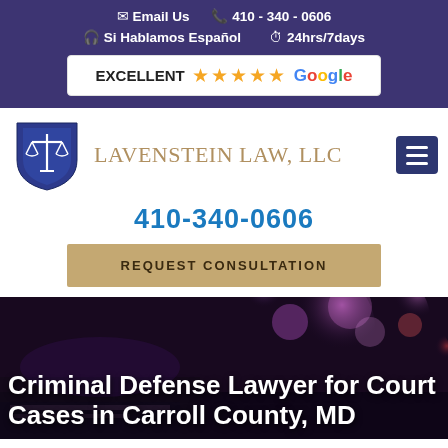Email Us  410 - 340 - 0606  Si Hablamos Español  24hrs/7days
[Figure (logo): EXCELLENT 5-star Google review badge in white box on purple background]
[Figure (logo): Lavenstein Law LLC shield logo with scales of justice]
LAVENSTEIN LAW, LLC
410-340-0606
REQUEST CONSULTATION
[Figure (photo): Dark moody background with police lights, bokeh effect. Hero image for criminal defense law firm.]
Criminal Defense Lawyer for Court Cases in Carroll County, MD
Carroll County Criminal Defense Attorney